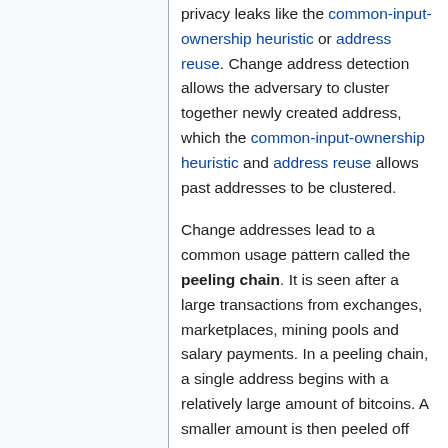privacy leaks like the common-input-ownership heuristic or address reuse. Change address detection allows the adversary to cluster together newly created address, which the common-input-ownership heuristic and address reuse allows past addresses to be clustered.
Change addresses lead to a common usage pattern called the peeling chain. It is seen after a large transactions from exchanges, marketplaces, mining pools and salary payments. In a peeling chain, a single address begins with a relatively large amount of bitcoins. A smaller amount is then peeled off this larger amount, creating a transaction in which a small amount is transferred to one address, and the remainder is transferred to a one-time change